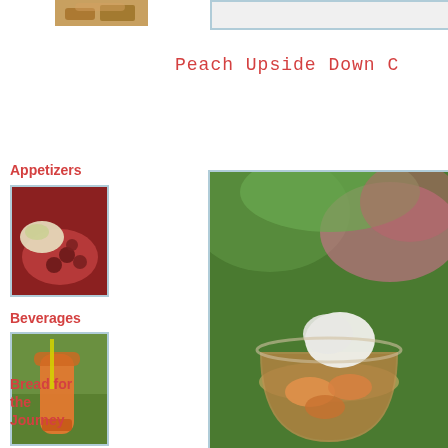[Figure (photo): Small thumbnail of bread/baked item at top left]
[Figure (photo): Top right navigation bar / search area]
Peach Upside Down C
Appetizers
[Figure (photo): Appetizers thumbnail showing appetizer food items]
Beverages
[Figure (photo): Beverages thumbnail showing an orange drink with straw]
Bread for the Journey
[Figure (photo): Bread for the Journey thumbnail showing an open book in a field]
[Figure (photo): Main large photo of peach upside down cake dessert in a glass bowl with whipped cream, outdoor garden background]